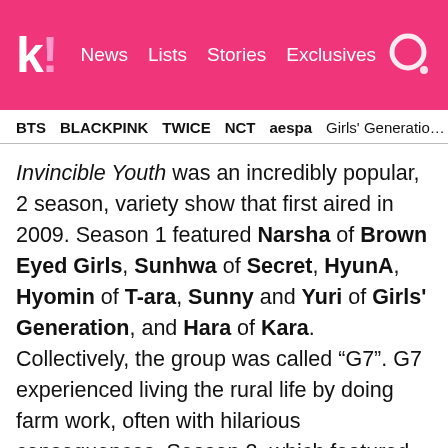K! News Lists Stories Exclusives
BTS BLACKPINK TWICE NCT aespa Girls' Generation
Invincible Youth was an incredibly popular, 2 season, variety show that first aired in 2009. Season 1 featured Narsha of Brown Eyed Girls, Sunhwa of Secret, HyunA, Hyomin of T-ara, Sunny and Yuri of Girls' Generation, and Hara of Kara. Collectively, the group was called “G7”. G7 experienced living the rural life by doing farm work, often with hilarious consequences. Season 2, which featured only a fraction of the original cast, was canceled partway through, due to scheduling conflicts and low ratings. That was back in 2012, but fans still miss it!